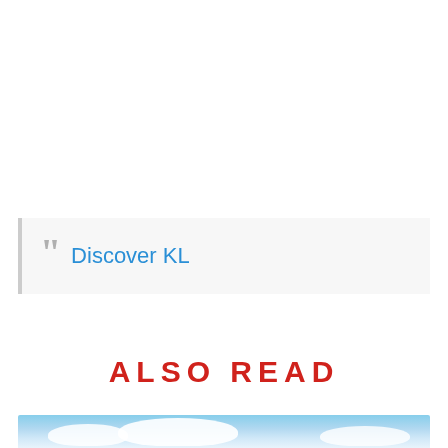" Discover KL
ALSO READ
[Figure (photo): Sky with clouds image at the bottom of the page]